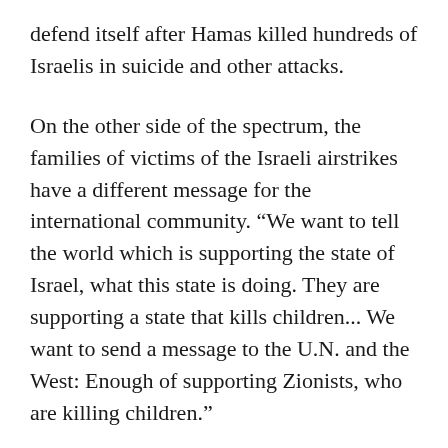defend itself after Hamas killed hundreds of Israelis in suicide and other attacks.
On the other side of the spectrum, the families of victims of the Israeli airstrikes have a different message for the international community. “We want to tell the world which is supporting the state of Israel, what this state is doing. They are supporting a state that kills children... We want to send a message to the U.N. and the West: Enough of supporting Zionists, who are killing children.”
Three Israelis have also been killed in this